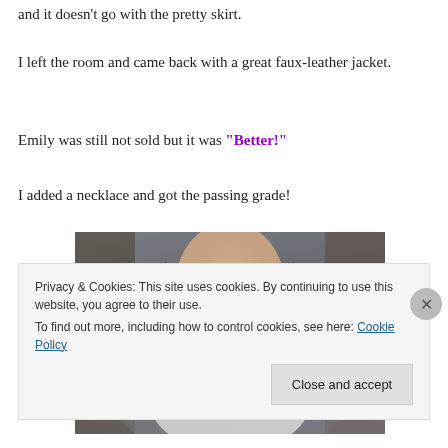and it doesn't go with the pretty skirt.
I left the room and came back with a great faux-leather jacket.
Emily was still not sold but it was "Better!"
I added a necklace and got the passing grade!
[Figure (photo): A person wearing a gray faux-leather jacket and a long geometric chain necklace over a white top]
Privacy & Cookies: This site uses cookies. By continuing to use this website, you agree to their use.
To find out more, including how to control cookies, see here: Cookie Policy